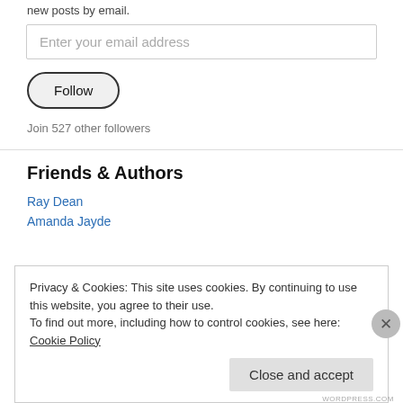new posts by email.
Enter your email address
Follow
Join 527 other followers
Friends & Authors
Ray Dean
Amanda Jayde
Privacy & Cookies: This site uses cookies. By continuing to use this website, you agree to their use.
To find out more, including how to control cookies, see here: Cookie Policy
Close and accept